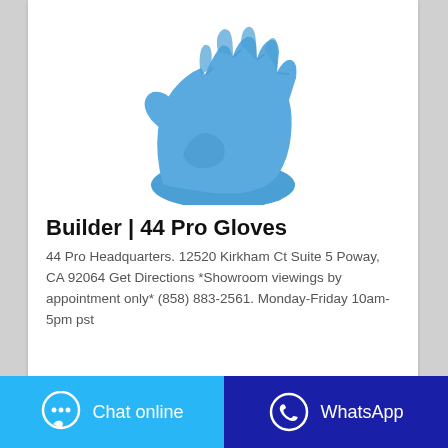[Figure (illustration): Blue nitrile disposable glove shown from the back, fingers pointing upward, on white background]
Builder | 44 Pro Gloves
44 Pro Headquarters. 12520 Kirkham Ct Suite 5 Poway, CA 92064 Get Directions *Showroom viewings by appointment only* (858) 883-2561. Monday-Friday 10am-5pm pst
Chat online
WhatsApp